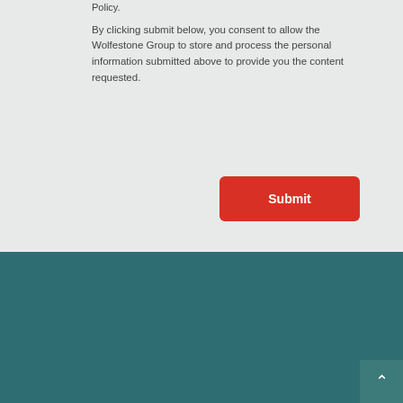Policy.
By clicking submit below, you consent to allow the Wolfestone Group to store and process the personal information submitted above to provide you the content requested.
Submit
This website uses cookies to improve your experience. We'll assume you're ok with this, but you can opt-out if you wish.
Accept
Reject
Cookie Policy